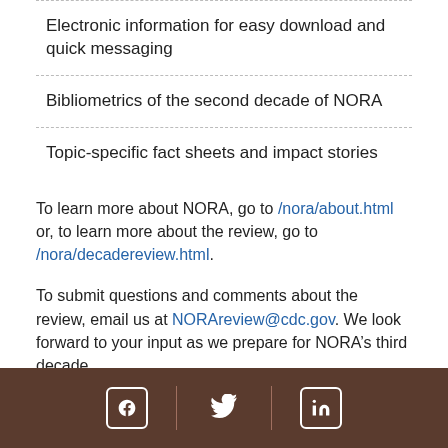Electronic information for easy download and quick messaging
Bibliometrics of the second decade of NORA
Topic-specific fact sheets and impact stories
To learn more about NORA, go to /nora/about.html or, to learn more about the review, go to /nora/decadereview.html.
To submit questions and comments about the review, email us at NORAreview@cdc.gov. We look forward to your input as we prepare for NORA’s third decade.
Facebook | Twitter | LinkedIn